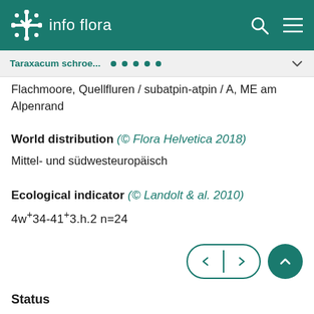info flora
Taraxacum schroe...
Flachmoore, Quellfluren / subatpin-atpin / A, ME am Alpenrand
World distribution (© Flora Helvetica 2018)
Mittel- und südwesteuropäisch
Ecological indicator (© Landolt & al. 2010)
4w+34-41+3.h.2 n=24
Status